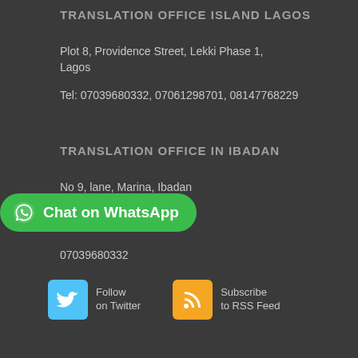TRANSLATION OFFICE ISLAND LAGOS
Plot 8, Providence Street, Lekki Phase 1, Lagos
Tel: 07039680332, 07061298701, 08147768229
TRANSLATION OFFICE IN IBADAN
No 9, lane, Marina, Ibadan
[Figure (other): Green WhatsApp chat button with WhatsApp logo icon and text 'Chat on WhatsApp']
07039680332
[Figure (other): Twitter follow button - blue square with Twitter bird icon, text 'Follow on Twitter']
[Figure (other): RSS subscribe button - orange square with RSS icon, text 'Subscribe to RSS Feed']